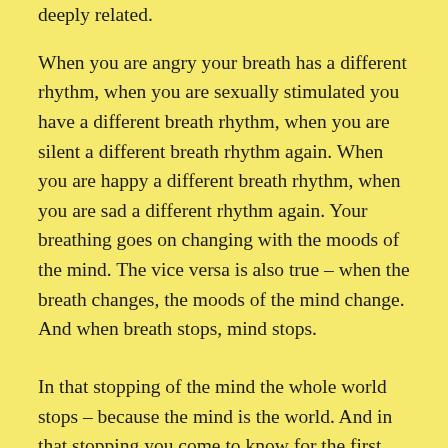deeply related.
When you are angry your breath has a different rhythm, when you are sexually stimulated you have a different breath rhythm, when you are silent a different breath rhythm again. When you are happy a different breath rhythm, when you are sad a different rhythm again. Your breathing goes on changing with the moods of the mind. The vice versa is also true – when the breath changes, the moods of the mind change. And when breath stops, mind stops.
In that stopping of the mind the whole world stops – because the mind is the world. And in that stopping you come to know for the first time what is the breath inside the breath: life